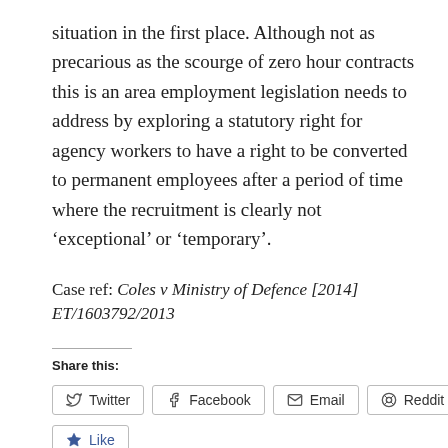situation in the first place. Although not as precarious as the scourge of zero hour contracts this is an area employment legislation needs to address by exploring a statutory right for agency workers to have a right to be converted to permanent employees after a period of time where the recruitment is clearly not 'exceptional' or 'temporary'.
Case ref: Coles v Ministry of Defence [2014] ET/1603792/2013
Share this:
Twitter | Facebook | Email | Reddit
Like